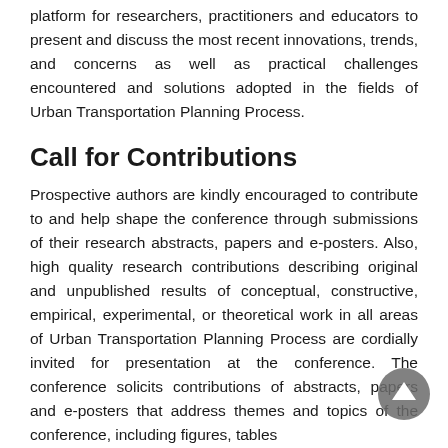platform for researchers, practitioners and educators to present and discuss the most recent innovations, trends, and concerns as well as practical challenges encountered and solutions adopted in the fields of Urban Transportation Planning Process.
Call for Contributions
Prospective authors are kindly encouraged to contribute to and help shape the conference through submissions of their research abstracts, papers and e-posters. Also, high quality research contributions describing original and unpublished results of conceptual, constructive, empirical, experimental, or theoretical work in all areas of Urban Transportation Planning Process are cordially invited for presentation at the conference. The conference solicits contributions of abstracts, papers and e-posters that address themes and topics of the conference, including figures, tables